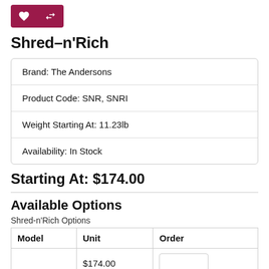[Figure (other): Two icon buttons: a heart (wishlist) and a compare arrows icon, both on dark red/maroon background]
Shred-n'Rich
| Brand: The Andersons |
| Product Code: SNR, SNRI |
| Weight Starting At: 11.23lb |
| Availability: In Stock |
Starting At: $174.00
Available Options
Shred-n'Rich Options
| Model | Unit | Order |
| --- | --- | --- |
|  | $174.00 |  |